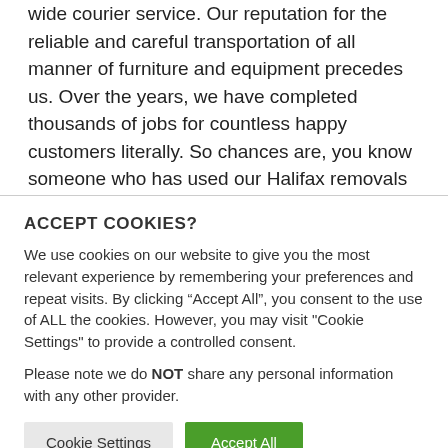wide courier service. Our reputation for the reliable and careful transportation of all manner of furniture and equipment precedes us. Over the years, we have completed thousands of jobs for countless happy customers literally. So chances are, you know someone who has used our Halifax removals service and wouldn't hesitate to recommend us (which is why over 50% of our
ACCEPT COOKIES?
We use cookies on our website to give you the most relevant experience by remembering your preferences and repeat visits. By clicking “Accept All”, you consent to the use of ALL the cookies. However, you may visit "Cookie Settings" to provide a controlled consent.
Please note we do NOT share any personal information with any other provider.